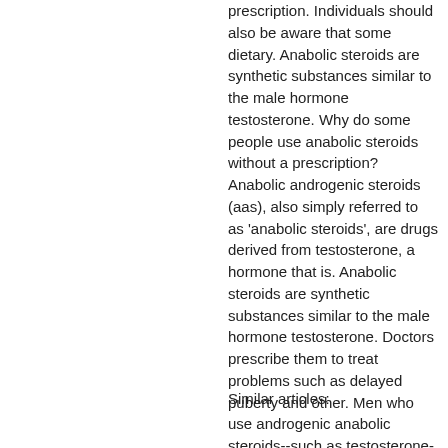prescription. Individuals should also be aware that some dietary. Anabolic steroids are synthetic substances similar to the male hormone testosterone. Why do some people use anabolic steroids without a prescription? Anabolic androgenic steroids (aas), also simply referred to as 'anabolic steroids', are drugs derived from testosterone, a hormone that is. Anabolic steroids are synthetic substances similar to the male hormone testosterone. Doctors prescribe them to treat problems such as delayed puberty and other. Men who use androgenic anabolic steroids--such as testosterone--may face a higher risk of early death and of experiencing more hospital. Why do some people use anabolic steroids without a prescription?
Similar articles: